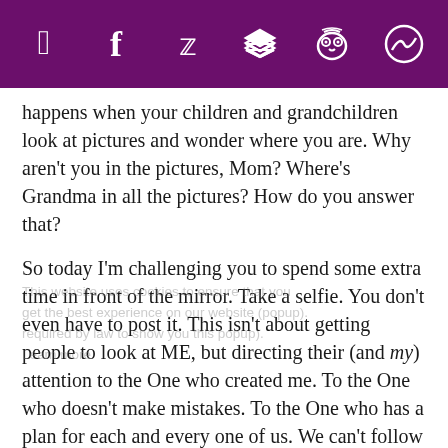[Social sharing icons: Pinterest, Facebook, Twitter, Buffer, Hootsuite, More]
happens when your children and grandchildren look at pictures and wonder where you are.  Why aren't you in the pictures, Mom?  Where's Grandma in all the pictures?  How do you answer that?
So today I'm challenging you to spend some extra time in front of the mirror.  Take a selfie.  You don't even have to post it.  This isn't about getting people to look at ME, but directing their (and my) attention to the One who created me. To the One who doesn't make mistakes. To the One who has a plan for each and every one of us. We can't follow that plan if we're caught up in feeling like He didn't make us right.
Got it!! No prob, Bob!
Taking a Selfie